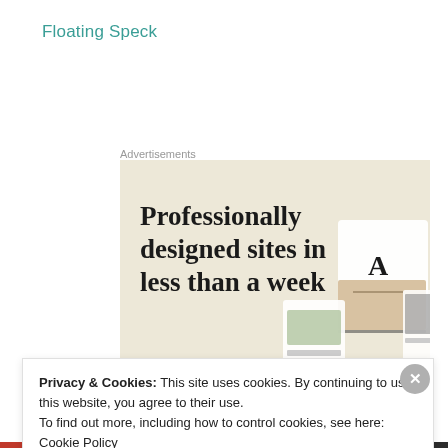Floating Speck
Advertisements
[Figure (illustration): Advertisement banner with beige background showing text 'Professionally designed sites in less than a week', a green 'Explore options' button, and website screenshots on the right side.]
Privacy & Cookies: This site uses cookies. By continuing to use this website, you agree to their use.
To find out more, including how to control cookies, see here: Cookie Policy